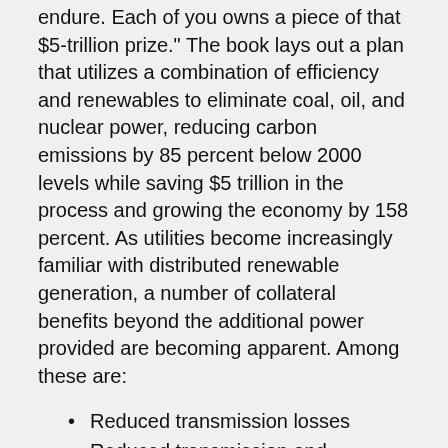endure. Each of you owns a piece of that $5-trillion prize." The book lays out a plan that utilizes a combination of efficiency and renewables to eliminate coal, oil, and nuclear power, reducing carbon emissions by 85 percent below 2000 levels while saving $5 trillion in the process and growing the economy by 158 percent. As utilities become increasingly familiar with distributed renewable generation, a number of collateral benefits beyond the additional power provided are becoming apparent. Among these are:
Reduced transmission losses
Reduced transmission and